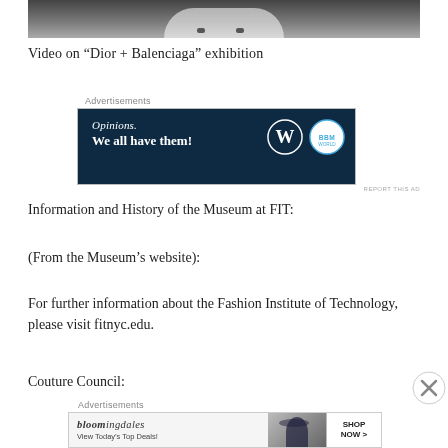[Figure (photo): Top portion of a fashion photo showing a white garment/dress on dark background]
Video on “Dior + Balenciaga” exhibition
[Figure (screenshot): Advertisement banner: Opinions. We all have them! with WordPress and BBM icons on dark navy background]
REPORT THIS AD
Information and History of the Museum at FIT:
(From the Museum’s website):
For further information about the Fashion Institute of Technology, please visit fitnyc.edu.
Couture Council:
[Figure (screenshot): Bloomingdales advertisement: View Today’s Top Deals! with woman in wide-brim hat and SHOP NOW > button]